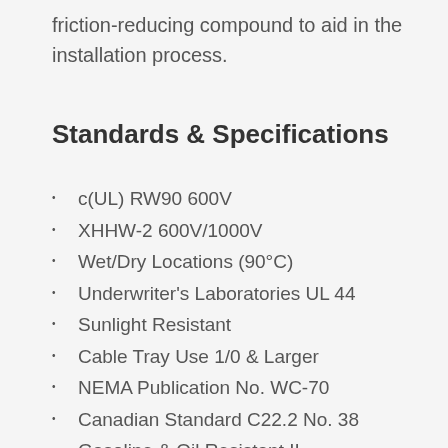friction-reducing compound to aid in the installation process.
Standards & Specifications
c(UL) RW90 600V
XHHW-2 600V/1000V
Wet/Dry Locations (90°C)
Underwriter's Laboratories UL 44
Sunlight Resistant
Cable Tray Use 1/0 & Larger
NEMA Publication No. WC-70
Canadian Standard C22.2 No. 38
Gasoline & Oil Resistant II
ICEA S-95-658
IEEE 1202